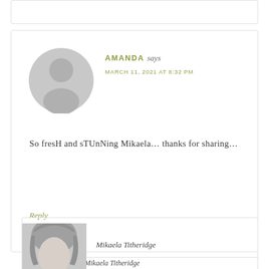[Figure (other): Top partial comment box border, cropped from previous comment]
AMANDA says
MARCH 11, 2021 AT 8:32 PM
[Figure (illustration): Generic grey avatar placeholder silhouette for commenter Amanda]
So fresH and sTUnNing Mikaela… thanks for sharing…
Reply
[Figure (photo): Partial photo of Mikaela Titheridge, black and white, cropped at bottom]
Mikaela Titheridge